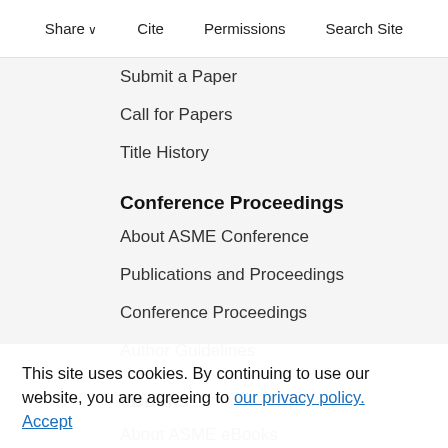Share  Cite  Permissions  Search Site
Submit a Paper
Call for Papers
Title History
Conference Proceedings
About ASME Conference
Publications and Proceedings
Conference Proceedings
Author Guidelines
eBooks
About ASME eBooks
ASME Press Advisory &
Oversight Committee
Book Proposal Guidelines
Resources
This site uses cookies. By continuing to use our website, you are agreeing to our privacy policy. Accept